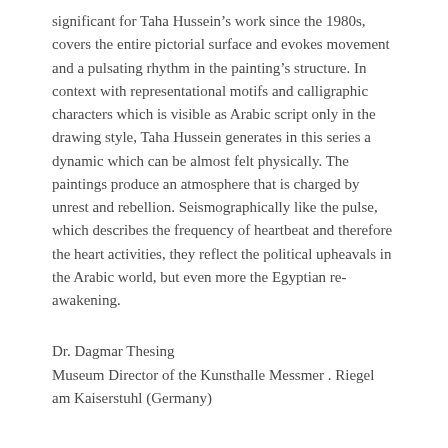significant for Taha Hussein’s work since the 1980s, covers the entire pictorial surface and evokes movement and a pulsating rhythm in the painting’s structure. In context with representational motifs and calligraphic characters which is visible as Arabic script only in the drawing style, Taha Hussein generates in this series a dynamic which can be almost felt physically. The paintings produce an atmosphere that is charged by unrest and rebellion. Seismographically like the pulse, which describes the frequency of heartbeat and therefore the heart activities, they reflect the political upheavals in the Arabic world, but even more the Egyptian re-awakening.
Dr. Dagmar Thesing
Museum Director of the Kunsthalle Messmer . Riegel am Kaiserstuhl (Germany)